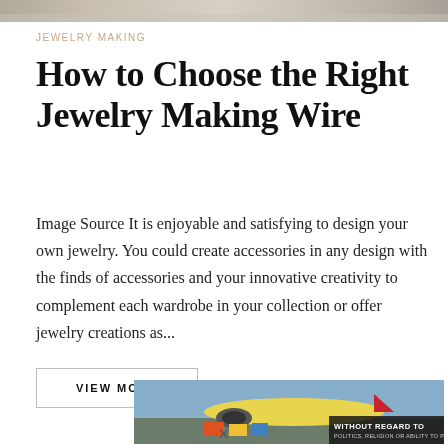[Figure (photo): Grayscale/muted photo strip across the top of the page, showing an outdoor or landscape scene]
JEWELRY MAKING
How to Choose the Right Jewelry Making Wire
Image Source It is enjoyable and satisfying to design your own jewelry. You could create accessories in any design with the finds of accessories and your innovative creativity to complement each wardrobe in your collection or offer jewelry creations as...
VIEW MORE
[Figure (photo): Advertisement banner showing an airplane being loaded with cargo, with text 'WITHOUT REGARD TO POLITICS, RELIGION OR ABILITY TO PAY']